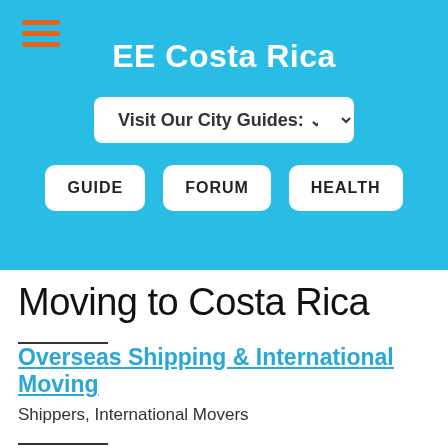EE Costa Rica
[Figure (other): Hamburger menu icon with three orange horizontal lines]
Visit Our City Guides:
GUIDE
FORUM
HEALTH
Moving to Costa Rica
Overseas Shipping & International Moving
Shippers, International Movers
Auto Shipping & Auto